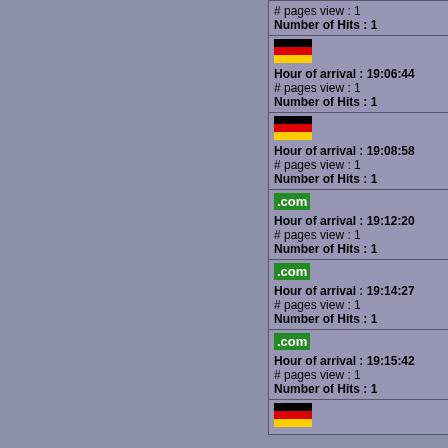| Visitor info | Time info |
| --- | --- |
| # pages view : 1
Number of Hits : 1 | 00-00-0... |
| [DE flag]
Hour of arrival : 19:06:44
# pages view : 1
Number of Hits : 1 | Time of
00-00-0... |
| [DE flag]
Hour of arrival : 19:08:58
# pages view : 1
Number of Hits : 1 | Time of
00-00-0... |
| [.com]
Hour of arrival : 19:12:20
# pages view : 1
Number of Hits : 1 | Time of
00-00-0... |
| [.com]
Hour of arrival : 19:14:27
# pages view : 1
Number of Hits : 1 | Time of
00-00-0... |
| [.com]
Hour of arrival : 19:15:42
# pages view : 1
Number of Hits : 1 | Time of
00-00-0... |
| [DE flag] |  |